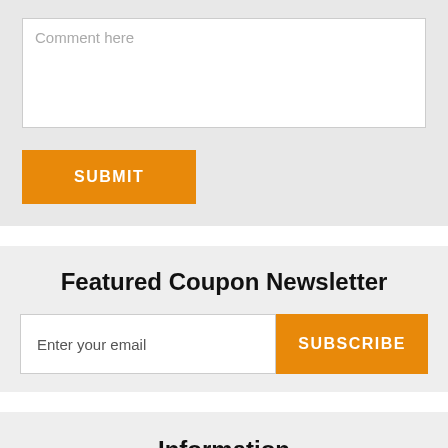Comment here
SUBMIT
Featured Coupon Newsletter
Enter your email
SUBSCRIBE
Information